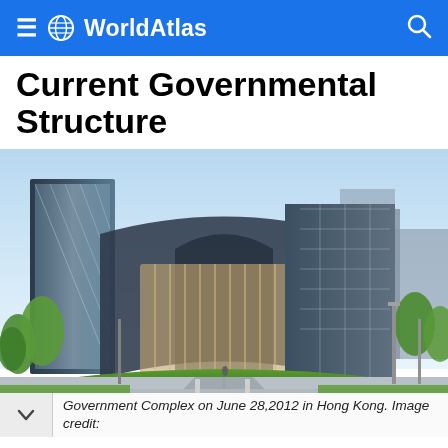WorldAtlas
Current Governmental Structure
[Figure (photo): Photograph of the Hong Kong Government Complex taken on June 28, 2012. Modern angular glass and steel government buildings surrounded by manicured hedges, pathways, green lawns, and street lamps under a clear blue sky.]
Government Complex on June 28,2012 in Hong Kong. Image credit: